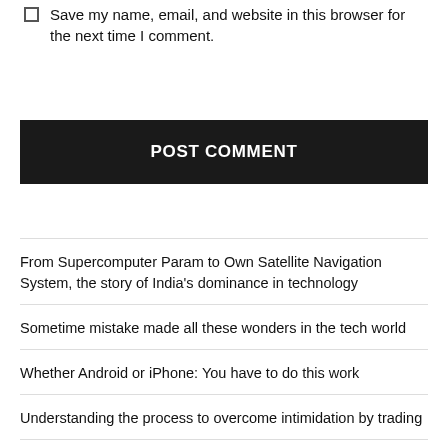Save my name, email, and website in this browser for the next time I comment.
POST COMMENT
From Supercomputer Param to Own Satellite Navigation System, the story of India's dominance in technology
Sometime mistake made all these wonders in the tech world
Whether Android or iPhone: You have to do this work
Understanding the process to overcome intimidation by trading
Bitcoin is dead? Will BTC go up again?